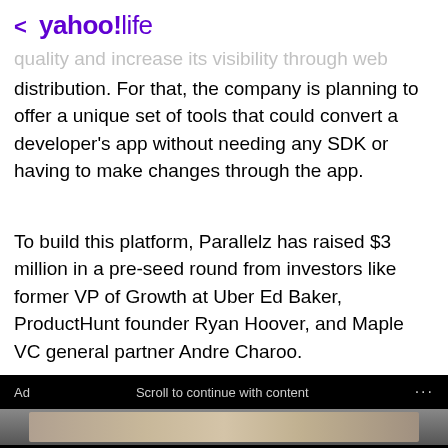< yahoo!life
quality and increase its visibility through web distribution. For that, the company is planning to offer a unique set of tools that could convert a developer's app without needing any SDK or having to make changes through the app.
To build this platform, Parallelz has raised $3 million in a pre-seed round from investors like former VP of Growth at Uber Ed Baker, ProductHunt founder Ryan Hoover, and Maple VC general partner Andre Charoo.
[Figure (screenshot): Ad section with 'Scroll to continue with content' bar on black background, showing a partial food image strip, Gundry MD Total Restore brand name, and headline 'If You Eat Oatmeal Every Day, This Is What']